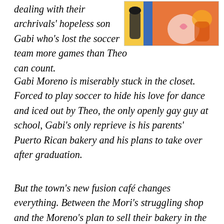dealing with their archrivals' hopeless son Gabi who's lost the soccer team more games than Theo can count.
[Figure (illustration): Colorful illustrated image showing cartoon-style characters, with warm orange, yellow, and pink tones. Appears to be book cover art.]
Gabi Moreno is miserably stuck in the closet. Forced to play soccer to hide his love for dance and iced out by Theo, the only openly gay guy at school, Gabi's only reprieve is his parents' Puerto Rican bakery and his plans to take over after graduation.
But the town's new fusion café changes everything. Between the Mori's struggling shop and the Moreno's plan to sell their bakery in the face of the competition, both boys find their dreams in jeopardy. Then Theo has